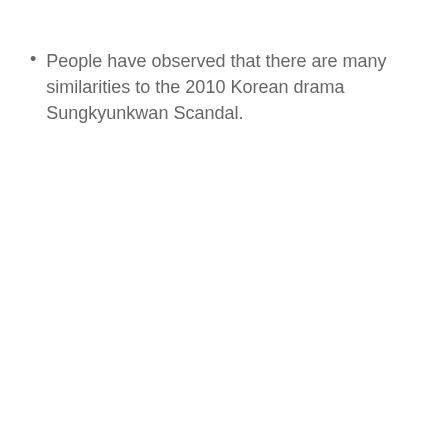People have observed that there are many similarities to the 2010 Korean drama Sungkyunkwan Scandal.